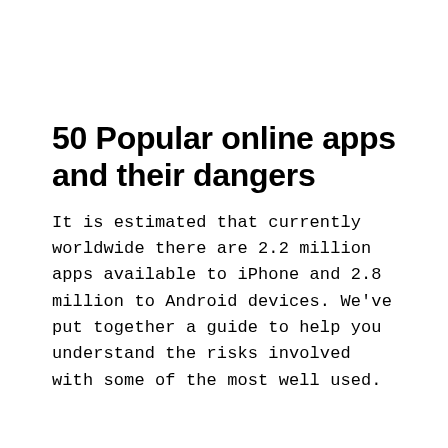50 Popular online apps and their dangers
It is estimated that currently worldwide there are 2.2 million apps available to iPhone and 2.8 million to Android devices. We've put together a guide to help you understand the risks involved with some of the most well used.